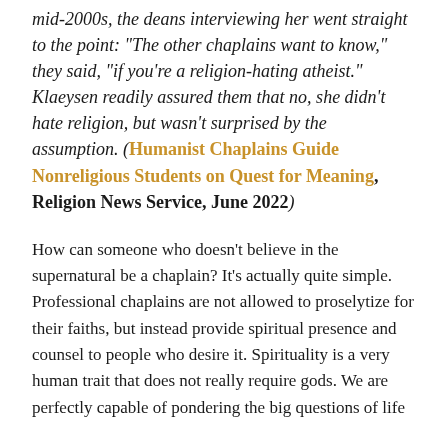mid-2000s, the deans interviewing her went straight to the point: "The other chaplains want to know," they said, "if you're a religion-hating atheist." Klaeysen readily assured them that no, she didn't hate religion, but wasn't surprised by the assumption. (Humanist Chaplains Guide Nonreligious Students on Quest for Meaning, Religion News Service, June 2022)
How can someone who doesn't believe in the supernatural be a chaplain? It's actually quite simple. Professional chaplains are not allowed to proselytize for their faiths, but instead provide spiritual presence and counsel to people who desire it. Spirituality is a very human trait that does not really require gods. We are perfectly capable of pondering the big questions of life